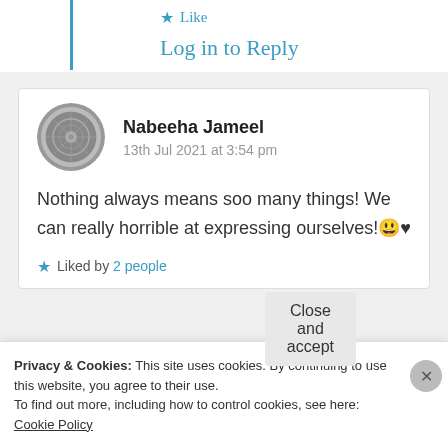★ Like
Log in to Reply
Nabeeha Jameel
13th Jul 2021 at 3:54 pm
Nothing always means soo many things! We can really horrible at expressing ourselves! 😅♥
★ Liked by 2 people
Privacy & Cookies: This site uses cookies. By continuing to use this website, you agree to their use.
To find out more, including how to control cookies, see here: Cookie Policy
Close and accept